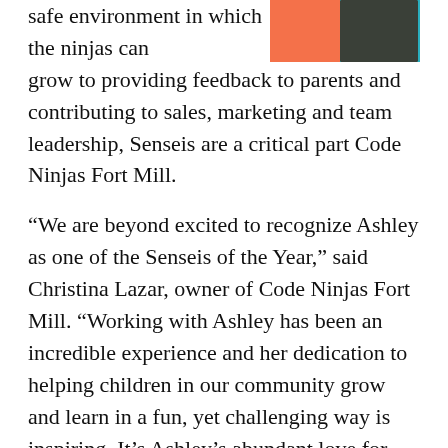[Figure (photo): Photo of a person wearing dark clothes against a coral/orange and teal/blue background, cropped at top of page]
safe environment in which the ninjas can grow to providing feedback to parents and contributing to sales, marketing and team leadership, Senseis are a critical part Code Ninjas Fort Mill.
“We are beyond excited to recognize Ashley as one of the Senseis of the Year,” said Christina Lazar, owner of Code Ninjas Fort Mill. “Working with Ashley has been an incredible experience and her dedication to helping children in our community grow and learn in a fun, yet challenging way is inspiring. It’s Ashley’s abundant love for teaching, children and computer science that makes her irreplaceable and the perfect fit for Code Ninjas, and vice versa! We can’t wait to see what the future holds for her both inside and outside our center.”